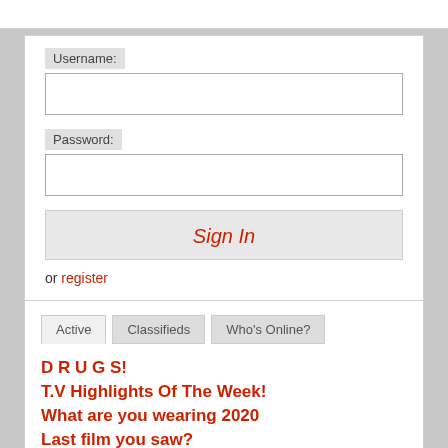Username:
Password:
Sign In
or register
Active | Classifieds | Who's Online?
D R U G S!
T.V Highlights Of The Week!
What are you wearing 2020
Last film you saw?
Ask a simple question?